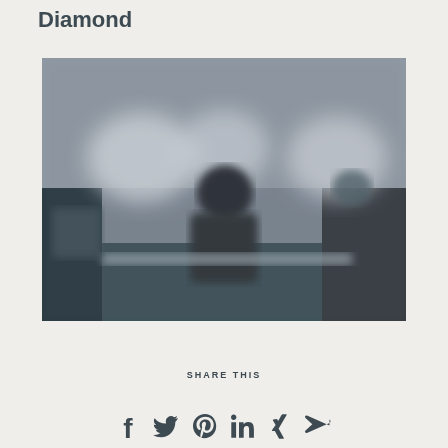Diamond
[Figure (photo): Blurry image of a person standing in what appears to be a medical or laboratory room with overhead circular lights]
SHARE THIS
[Figure (infographic): Social media share icons: Facebook, Twitter, Pinterest, LinkedIn, Xing, Email/Send]